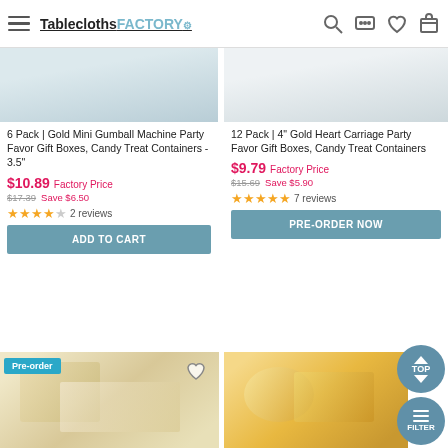TableclothsFACTORY.com
6 Pack | Gold Mini Gumball Machine Party Favor Gift Boxes, Candy Treat Containers - 3.5"
$10.89 Factory Price $17.39 Save $6.50 ★★★★☆ 2 reviews
ADD TO CART
12 Pack | 4" Gold Heart Carriage Party Favor Gift Boxes, Candy Treat Containers
$9.79 Factory Price $15.69 Save $5.90 ★★★★★ 7 reviews
PRE-ORDER NOW
[Figure (photo): Bottom-left product image with Pre-order badge and heart icon, showing spoons and party items on white fabric]
[Figure (photo): Bottom-right product image showing candy/heart carriage items in gold tones]